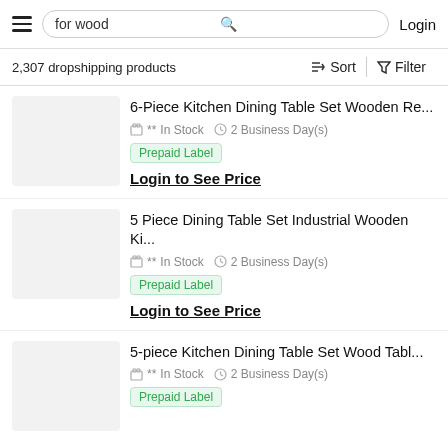for wood | Login
2,307 dropshipping products
6-Piece Kitchen Dining Table Set Wooden Re... ** In Stock  2 Business Day(s)  Prepaid Label  Login to See Price
5 Piece Dining Table Set Industrial Wooden Ki... ** In Stock  2 Business Day(s)  Prepaid Label  Login to See Price
5-piece Kitchen Dining Table Set Wood Tabl... ** In Stock  2 Business Day(s)  Prepaid Label